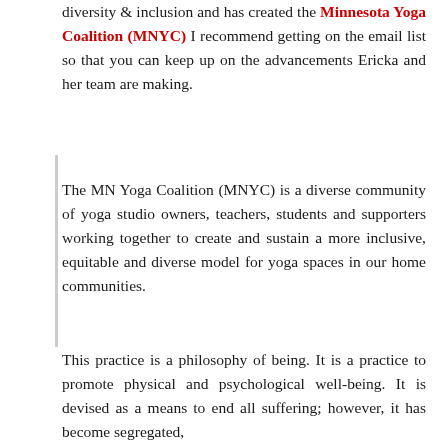diversity & inclusion and has created the Minnesota Yoga Coalition (MNYC) I recommend getting on the email list so that you can keep up on the advancements Ericka and her team are making.
The MN Yoga Coalition (MNYC) is a diverse community of yoga studio owners, teachers, students and supporters working together to create and sustain a more inclusive, equitable and diverse model for yoga spaces in our home communities.
This practice is a philosophy of being. It is a practice to promote physical and psychological well-being. It is devised as a means to end all suffering; however, it has become segregated,